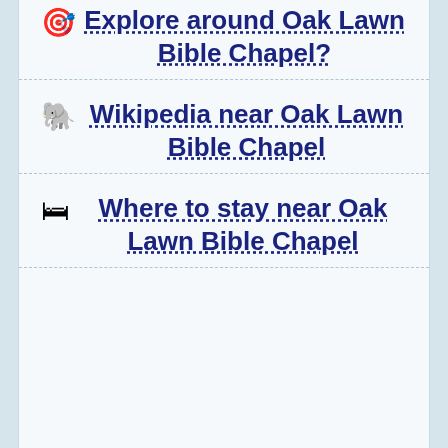Explore around Oak Lawn Bible Chapel?
Wikipedia near Oak Lawn Bible Chapel
Where to stay near Oak Lawn Bible Chapel